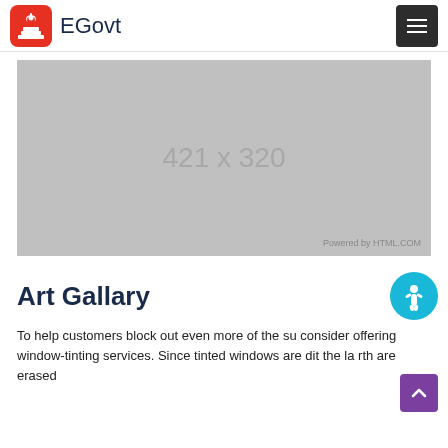EGovt
[Figure (other): Placeholder image showing dimensions 421 x 320 with 'Powered by HTML.COM' watermark]
Art Gallary
To help customers block out even more of the su consider offering window-tinting services. Since tinted windows are dit the la rth are erased